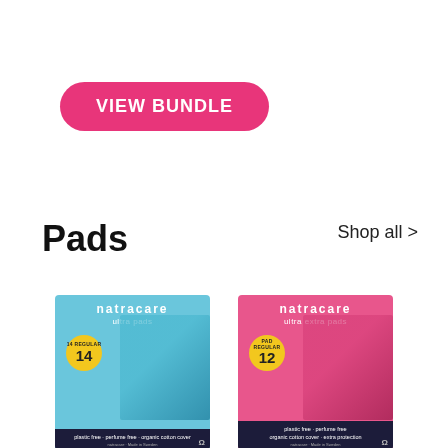[Figure (other): Pink rounded pill-shaped button with white text reading VIEW BUNDLE]
Pads
Shop all >
[Figure (photo): Natracare ultra pads product box in light blue with yellow circular badge showing 14 REGULAR count, text at bottom: plastic free, perfume free, organic cotton cover]
[Figure (photo): Natracare ultra extra pads product box in pink with yellow circular badge showing 12 REGULAR count, text at bottom: plastic free, perfume free, organic cotton cover, extra protection]